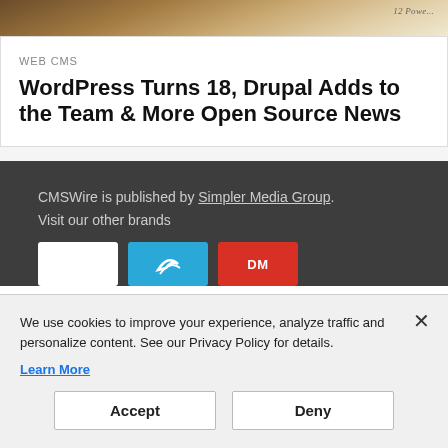[Figure (photo): Partial image of a tablet or notepad on a wooden surface, cropped at top]
WEB CMS
WordPress Turns 18, Drupal Adds to the Team & More Open Source News
CMSWire is published by Simpler Media Group. Visit our other brands
[Figure (logo): Three brand logo boxes: white logo, blue logo with icon, red logo with text]
We use cookies to improve your experience, analyze traffic and personalize content. See our Privacy Policy for details. Learn More
Accept
Deny